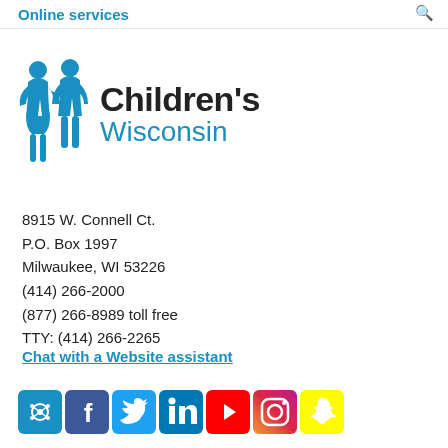Online services
[Figure (logo): Children's Wisconsin logo with two blue child silhouettes and text 'Children's Wisconsin']
8915 W. Connell Ct.
P.O. Box 1997
Milwaukee, WI 53226
(414) 266-2000
(877) 266-8989 toll free
TTY: (414) 266-2265
Chat with a Website assistant
[Figure (infographic): Row of social media icons: Boorah, Facebook, Twitter, LinkedIn, YouTube, Instagram, Snapchat]